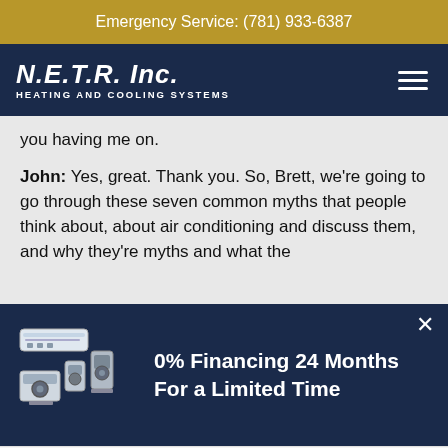Emergency Service: (781) 933-6387
[Figure (logo): N.E.T.R. Inc. Heating and Cooling Systems logo with hamburger menu icon]
you having me on.
John: Yes, great. Thank you. So, Brett, we're going to go through these seven common myths that people think about, about air conditioning and discuss them, and why they're myths and what the
[Figure (infographic): Promotional banner: 0% Financing 24 Months For a Limited Time with HVAC equipment image]
Learn More
Chat with Us